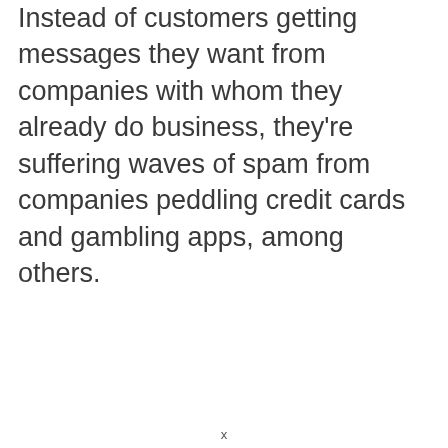Instead of customers getting messages they want from companies with whom they already do business, they're suffering waves of spam from companies peddling credit cards and gambling apps, among others.
x